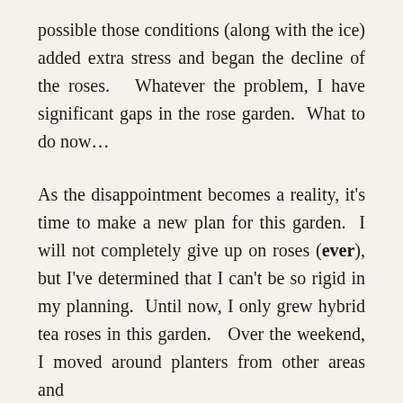possible those conditions (along with the ice) added extra stress and began the decline of the roses.  Whatever the problem, I have significant gaps in the rose garden.  What to do now…
As the disappointment becomes a reality, it's time to make a new plan for this garden.  I will not completely give up on roses (ever), but I've determined that I can't be so rigid in my planning.  Until now, I only grew hybrid tea roses in this garden.  Over the weekend, I moved around planters from other areas and